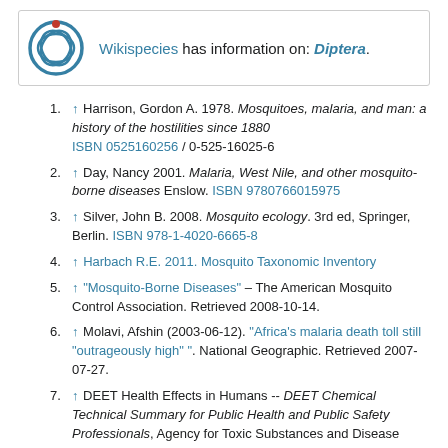[Figure (logo): Wikispecies logo with text: Wikispecies has information on: Diptera.]
↑ Harrison, Gordon A. 1978. Mosquitoes, malaria, and man: a history of the hostilities since 1880 ISBN 0525160256 / 0-525-16025-6
↑ Day, Nancy 2001. Malaria, West Nile, and other mosquito-borne diseases Enslow. ISBN 9780766015975
↑ Silver, John B. 2008. Mosquito ecology. 3rd ed, Springer, Berlin. ISBN 978-1-4020-6665-8
↑ Harbach R.E. 2011. Mosquito Taxonomic Inventory
↑ "Mosquito-Borne Diseases" – The American Mosquito Control Association. Retrieved 2008-10-14.
↑ Molavi, Afshin (2003-06-12). "Africa's malaria death toll still "outrageously high" ". National Geographic. Retrieved 2007-07-27.
↑ DEET Health Effects in Humans -- DEET Chemical Technical Summary for Public Health and Public Safety Professionals, Agency for Toxic Substances and Disease Registry, December 6, 2004: http://www.atsdr.cdc.gov/consultations/deet/health-effects.html